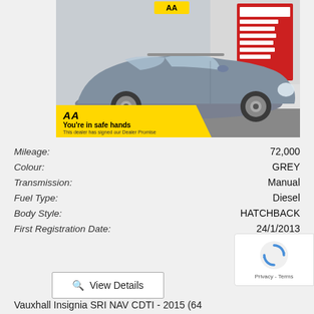[Figure (photo): Grey SUV/crossover car parked at a dealership forecourt. AA Dealer Promise banner overlay in yellow at bottom left reading 'AA You're in safe hands. This dealer has signed our Dealer Promise']
| Attribute | Value |
| --- | --- |
| Mileage: | 72,000 |
| Colour: | GREY |
| Transmission: | Manual |
| Fuel Type: | Diesel |
| Body Style: | HATCHBACK |
| First Registration Date: | 24/1/2013 |
View Details
Vauxhall Insignia SRI NAV CDTI - 2015 (64